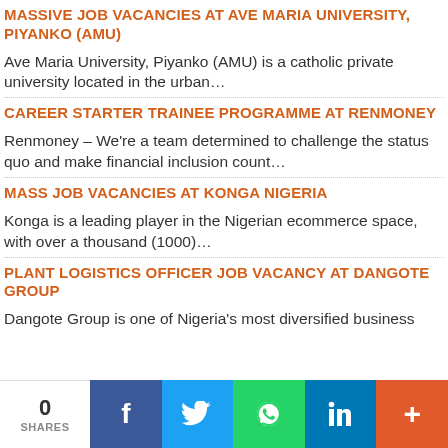MASSIVE JOB VACANCIES AT AVE MARIA UNIVERSITY, PIYANKO (AMU)
Ave Maria University, Piyanko (AMU) is a catholic private university located in the urban…
CAREER STARTER TRAINEE PROGRAMME AT RENMONEY
Renmoney – We're a team determined to challenge the status quo and make financial inclusion count…
MASS JOB VACANCIES AT KONGA NIGERIA
Konga is a leading player in the Nigerian ecommerce space, with over a thousand (1000)…
PLANT LOGISTICS OFFICER JOB VACANCY AT DANGOTE GROUP
Dangote Group is one of Nigeria's most diversified business
0 SHARES  f  t  (whatsapp)  in  +